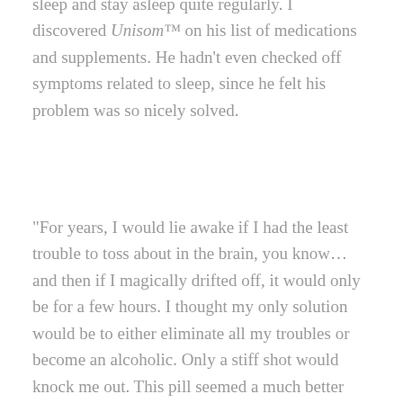sleep and stay asleep quite regularly. I discovered Unisom™ on his list of medications and supplements. He hadn't even checked off symptoms related to sleep, since he felt his problem was so nicely solved.
“For years, I would lie awake if I had the least trouble to toss about in the brain, you know... and then if I magically drifted off, it would only be for a few hours. I thought my only solution would be to either eliminate all my troubles or become an alcoholic. Only a stiff shot would knock me out. This pill seemed a much better option, am I wrong?”